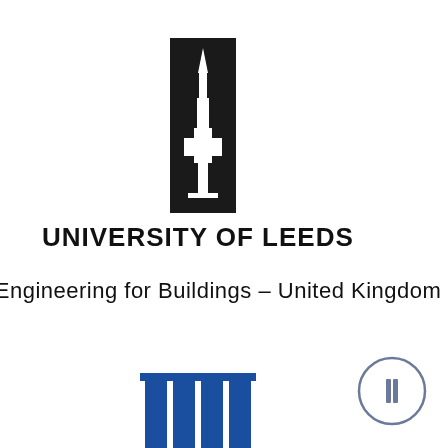[Figure (logo): University of Leeds logo: black rectangle containing a white rocket/tower illustration]
UNIVERSITY OF LEEDS
al Engineering for Buildings – United Kingdom
[Figure (logo): Circular icon with a rectangle/pause symbol inside, grey outline]
[Figure (logo): Blue columns/pillars logo mark at bottom left, partially cropped]